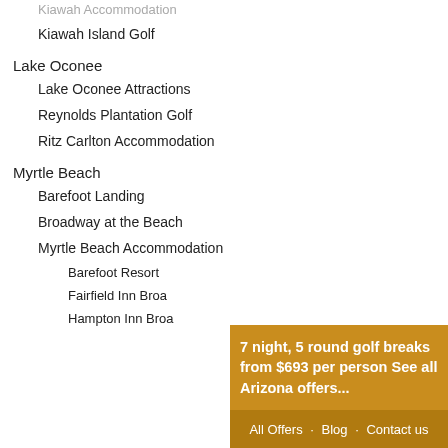Kiawah Accommodation
Kiawah Island Golf
Lake Oconee
Lake Oconee Attractions
Reynolds Plantation Golf
Ritz Carlton Accommodation
Myrtle Beach
Barefoot Landing
Broadway at the Beach
Myrtle Beach Accommodation
Barefoot Resort
Fairfield Inn Broadway
Hampton Inn Broadway
7 night, 5 round golf breaks from $693 per person See all Arizona offers...
All Offers · Blog · Contact us